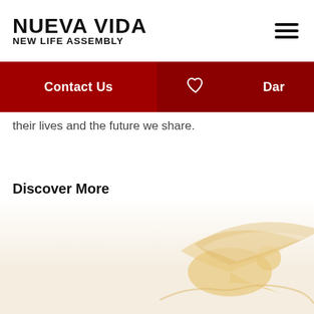NUEVA VIDA NEW LIFE ASSEMBLY
Contact Us  ♡  Dar
their lives and the future we share.
Discover More
[Figure (illustration): Decorative illustration of hands/dove in warm cream and gold tones at the bottom right of the page]